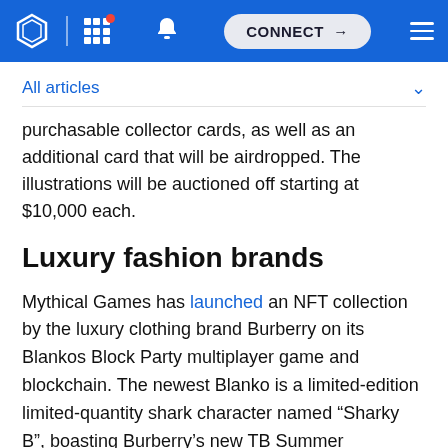Navigation bar with logo, grid menu, bell notification, CONNECT button, and hamburger menu
All articles
purchasable collector cards, as well as an additional card that will be airdropped. The illustrations will be auctioned off starting at $10,000 each.
Luxury fashion brands
Mythical Games has launched an NFT collection by the luxury clothing brand Burberry on its Blankos Block Party multiplayer game and blockchain. The newest Blanko is a limited-edition limited-quantity shark character named “Sharky B”, boasting Burberry’s new TB Summer Monogram. The